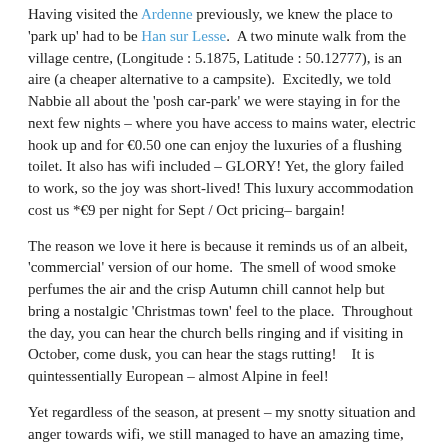Having visited the Ardenne previously, we knew the place to 'park up' had to be Han sur Lesse.  A two minute walk from the village centre, (Longitude : 5.1875, Latitude : 50.12777), is an aire (a cheaper alternative to a campsite).  Excitedly, we told Nabbie all about the 'posh car-park' we were staying in for the next few nights – where you have access to mains water, electric hook up and for €0.50 one can enjoy the luxuries of a flushing toilet. It also has wifi included – GLORY! Yet, the glory failed to work, so the joy was short-lived! This luxury accommodation cost us *€9 per night for Sept / Oct pricing– bargain!
The reason we love it here is because it reminds us of an albeit, 'commercial' version of our home.  The smell of wood smoke perfumes the air and the crisp Autumn chill cannot help but bring a nostalgic 'Christmas town' feel to the place.  Throughout the day, you can hear the church bells ringing and if visiting in October, come dusk, you can hear the stags rutting!   It is quintessentially European – almost Alpine in feel!
Yet regardless of the season, at present – my snotty situation and anger towards wifi, we still managed to have an amazing time, and these are some of the things we got up to:
Han Safari tour – *€19 adult, <3 – Free